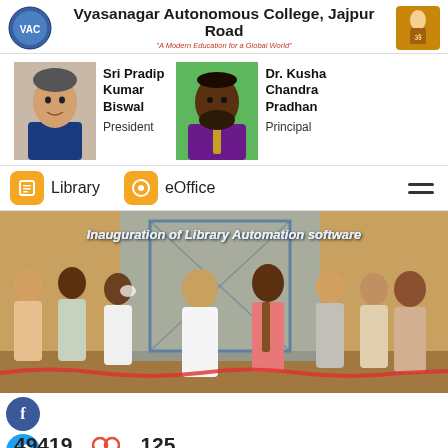Vyasanagar Autonomous College, Jajpur Road
"A Modern Education for a Global World"
Sri Pradip Kumar Biswal
President
Dr. Kusha Chandra Pradhan
Principal
Library
eOffice
[Figure (photo): Inauguration of Library Automation software — group photo of college officials and guests]
Inauguration of Library Automation software
[Figure (infographic): Social media icons (Facebook, Twitter) and Pay Online button, with stats showing 49419 and 125]
49419
125